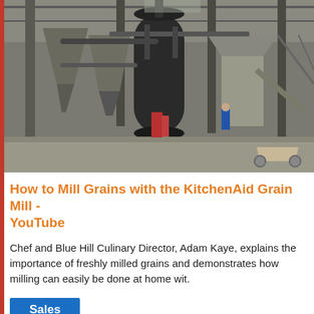[Figure (photo): Interior of an industrial grain milling facility with large cylindrical silos, metal scaffolding, hoppers, conveyor equipment, and workers visible in the background on a concrete floor.]
How to Mill Grains with the KitchenAid Grain Mill - YouTube
Chef and Blue Hill Culinary Director, Adam Kaye, explains the importance of freshly milled grains and demonstrates how milling can easily be done at home wit.
Sales